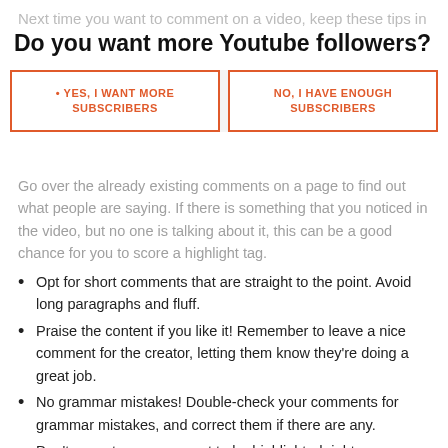Next time you want to comment on a video, keep these tips in mind.
Do you want more Youtube followers?
YES, I WANT MORE SUBSCRIBERS
NO, I HAVE ENOUGH SUBSCRIBERS
Go over the already existing comments on a page to find out what people are saying. If there is something that you noticed in the video, but no one is talking about it, this can be a good chance for you to score a highlight tag.
Opt for short comments that are straight to the point. Avoid long paragraphs and fluff.
Praise the content if you like it! Remember to leave a nice comment for the creator, letting them know they're doing a great job.
No grammar mistakes! Double-check your comments for grammar mistakes, and correct them if there are any.
Don't expect your comment to be highlighted right away. YouTube will analyze it, and it might